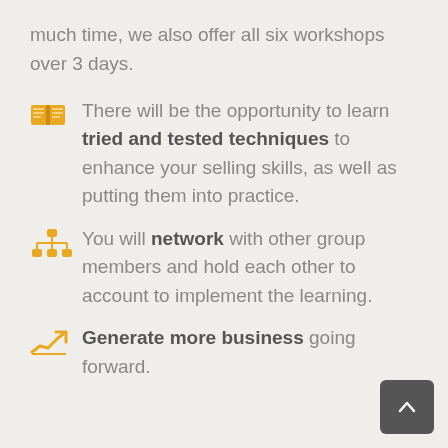much time, we also offer all six workshops over 3 days.
There will be the opportunity to learn tried and tested techniques to enhance your selling skills, as well as putting them into practice.
You will network with other group members and hold each other to account to implement the learning.
Generate more business going forward.